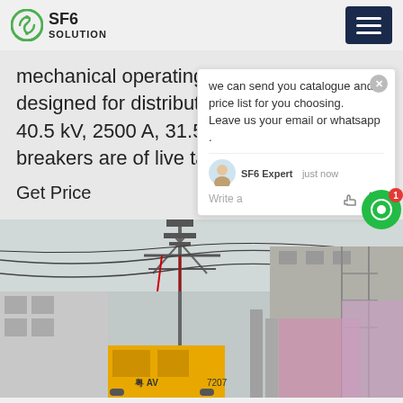SF6 SOLUTION
mechanical operating mechanism designed for distribution systems up to 40.5 kV, 2500 A, 31.5 kA. These circuit breakers are of live tank design.
Get Price
we can send you catalogue and price list for you choosing.
Leave us your email or whatsapp .
[Figure (photo): Industrial electrical substation with high-voltage towers, power lines, a yellow vehicle/equipment, and construction scaffolding with pink/purple coverings in the background.]